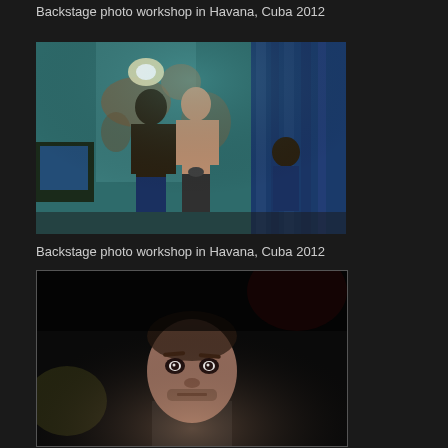Backstage photo workshop in Havana, Cuba 2012
[Figure (photo): Interior room scene with two shirtless men standing and one person seated, turquoise peeling walls, TV on the left, blue curtain on the right, moody lit photograph from Havana Cuba 2012 photo workshop]
Backstage photo workshop in Havana, Cuba 2012
[Figure (photo): Close-up portrait of a man with intense gaze looking directly into camera, dark moody low-key lighting, slight facial hair, dramatic shadows]